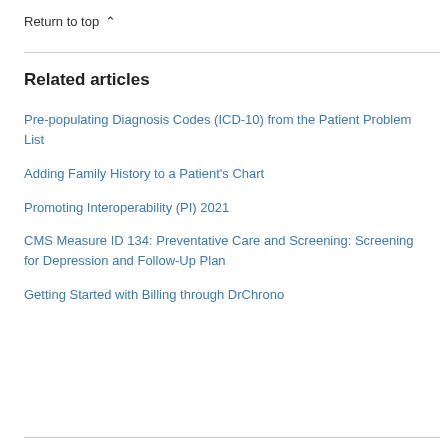Return to top ∧
Related articles
Pre-populating Diagnosis Codes (ICD-10) from the Patient Problem List
Adding Family History to a Patient's Chart
Promoting Interoperability (PI) 2021
CMS Measure ID 134: Preventative Care and Screening: Screening for Depression and Follow-Up Plan
Getting Started with Billing through DrChrono